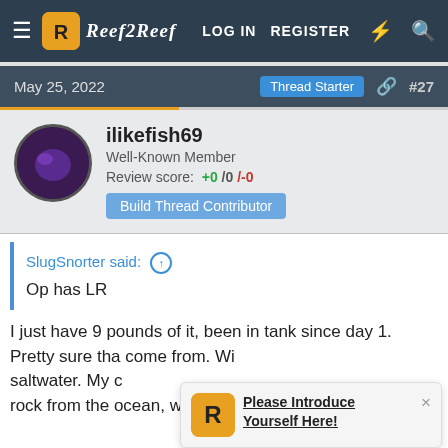Reef2Reef — LOG IN  REGISTER
May 25, 2022   Thread Starter  #27
ilikefish69
Well-Known Member
Review score: +0 /0 /-0
Build Thread Contributor
SlugSnorter said: ↑
Op has LR
I just have 9 pounds of it, been in tank since day 1. Pretty sure tha come from. Wi saltwater. My c rock from the ocean, which is something I don't want
[Figure (other): Reef2Reef logo icon notification popup: Please Introduce Yourself Here!]